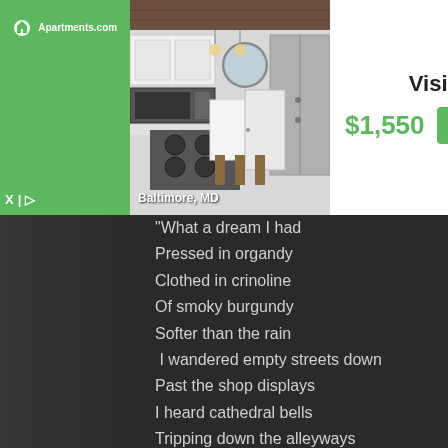[Figure (screenshot): Apartments.com advertisement banner showing a kitchen photo for a property in Baltimore, MD priced at $1,550 with a green View Now button and Vision property name]
X | ▷
^
"What a dream I had
Pressed in organdy
Clothe in crinoline
Of smoky burgundy
Softer than the rain
 I wandered empty streets down
Past the shop displays
I heard cathedral bells
Tripping down the alleyways
As I walked on
 And when you ran to me
Your cheeks flushed with the night
We walked on frosted fields
Of juniper and lamplight
I held your hand
And when I awoke